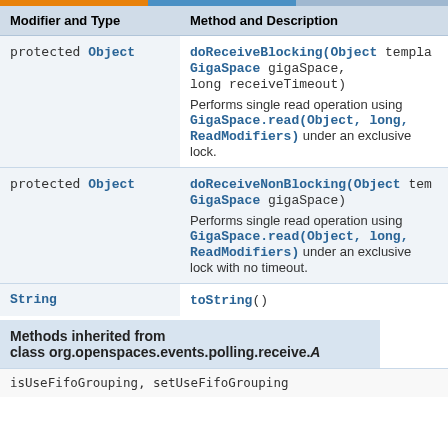| Modifier and Type | Method and Description |
| --- | --- |
| protected Object | doReceiveBlocking(Object template, GigaSpace gigaSpace, long receiveTimeout)
Performs single read operation using GigaSpace.read(Object, long, ReadModifiers) under an exclusive lock. |
| protected Object | doReceiveNonBlocking(Object template, GigaSpace gigaSpace)
Performs single read operation using GigaSpace.read(Object, long, ReadModifiers) under an exclusive lock with no timeout. |
| String | toString() |
Methods inherited from class org.openspaces.events.polling.receive.A
isUseFifoGrouping, setUseFifoGrouping